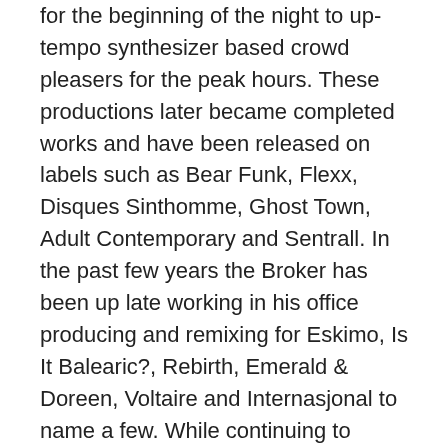for the beginning of the night to up-tempo synthesizer based crowd pleasers for the peak hours. These productions later became completed works and have been released on labels such as Bear Funk, Flexx, Disques Sinthomme, Ghost Town, Adult Contemporary and Sentrall. In the past few years the Broker has been up late working in his office producing and remixing for Eskimo, Is It Balearic?, Rebirth, Emerald & Doreen, Voltaire and Internasjonal to name a few. While continuing to make remixes and original tracks, the Beat Broker is constantly attempting to fuse old sounds with new ideas and create something for the crowd as well as the listener.
Look for more of The Beat Broker on his website, SoundCloud, Twitter, Facebook, and BandCamp. And of course you must familiarize yourself with Dream Chimney, a music blog and podcast series curated by The